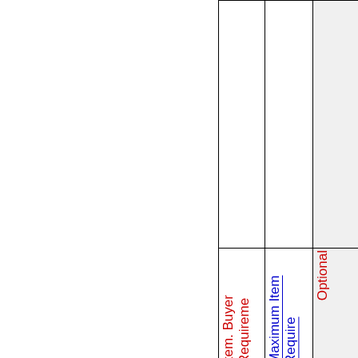| Item. Buyer Requirements | Maximum Item Requirements | Optional |
| --- | --- | --- |
|  |  |  |
| Item. Buyer Requirements | Maximum Item Requirements | Optional |